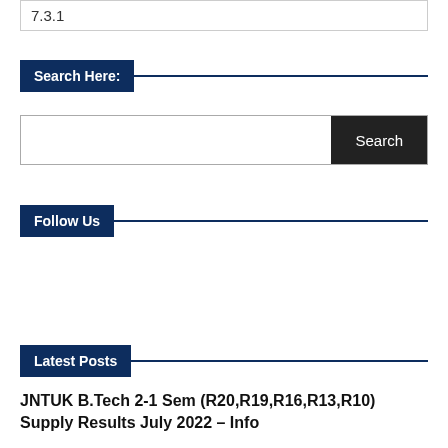7.3.1
Search Here:
Follow Us
Latest Posts
JNTUK B.Tech 2-1 Sem (R20,R19,R16,R13,R10) Supply Results July 2022 – Info